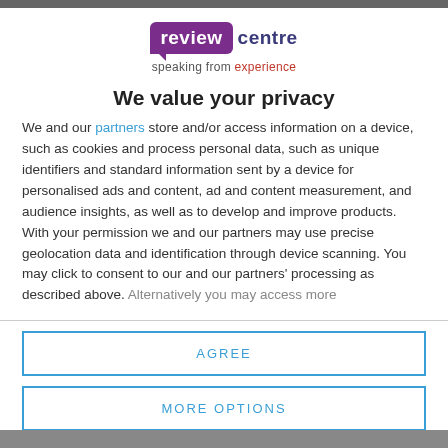[Figure (logo): Review Centre logo with purple speech-bubble style badge reading 'review' and dark blue text 'centre', with tagline 'speaking from experience']
We value your privacy
We and our partners store and/or access information on a device, such as cookies and process personal data, such as unique identifiers and standard information sent by a device for personalised ads and content, ad and content measurement, and audience insights, as well as to develop and improve products. With your permission we and our partners may use precise geolocation data and identification through device scanning. You may click to consent to our and our partners' processing as described above. Alternatively you may access more
AGREE
MORE OPTIONS